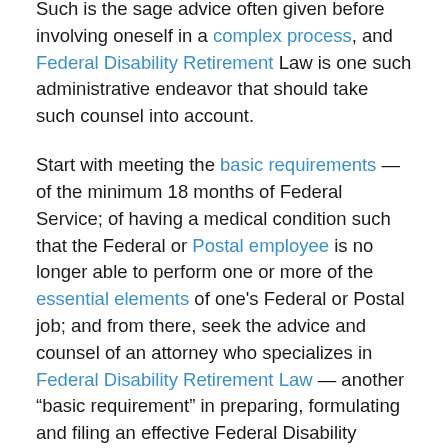Such is the sage advice often given before involving oneself in a complex process, and Federal Disability Retirement Law is one such administrative endeavor that should take such counsel into account.
Start with meeting the basic requirements — of the minimum 18 months of Federal Service; of having a medical condition such that the Federal or Postal employee is no longer able to perform one or more of the essential elements of one's Federal or Postal job; and from there, seek the advice and counsel of an attorney who specializes in Federal Disability Retirement Law — another “basic requirement” in preparing, formulating and filing an effective Federal Disability Retirement application.
Sincerely,
Robert R. McGill, Esquire